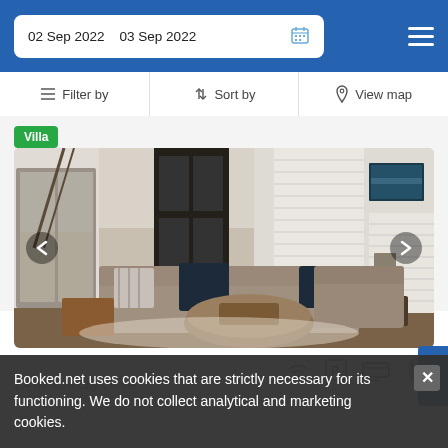02 Sep 2022   03 Sep 2022
Filter by   Sort by   View map
Villa
[Figure (photo): Interior living room of a villa with gray sofas, dark navy pillows, shuttered windows, a large dark front door, a wicker round coffee table, and a wooden side table. The room has white shiplap walls and hardwood floors.]
2.4 mi from City Center
Booked.net uses cookies that are strictly necessary for its functioning. We do not collect analytical and marketing cookies.